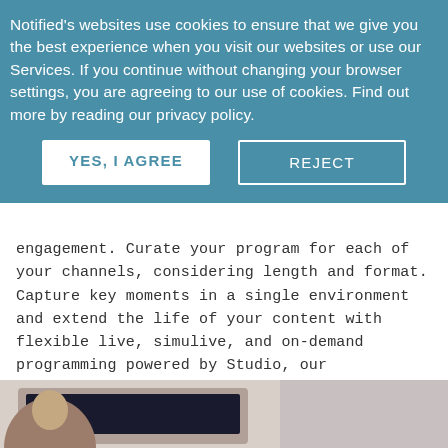Notified's websites use cookies to ensure that we give you the best experience when you visit our websites or use our Services. If you continue without changing your browser settings, you are agreeing to our use of cookies. Find out more by reading our privacy policy.
YES, I AGREE
REJECT
engagement. Curate your program for each of your channels, considering length and format. Capture key moments in a single environment and extend the life of your content with flexible live, simulive, and on-demand programming powered by Studio, our enterprise-grade webcast platform.
[Figure (photo): Bottom portion of a laptop or computer screen partially visible at the bottom of the page, with what appears to be a person or avatar visible]